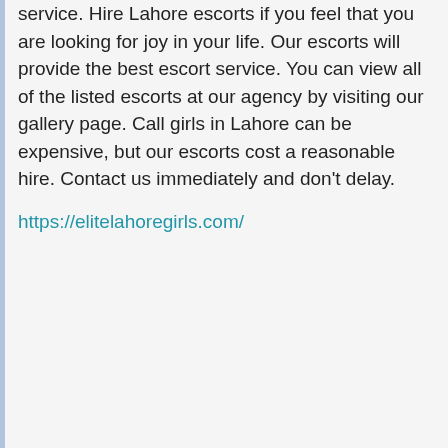service. Hire Lahore escorts if you feel that you are looking for joy in your life. Our escorts will provide the best escort service. You can view all of the listed escorts at our agency by visiting our gallery page. Call girls in Lahore can be expensive, but our escorts cost a reasonable hire. Contact us immediately and don't delay.
https://elitelahoregirls.com/
5/19/22 @ 9:14 AM
♥ 0
IE Islamabad escorts (Guest)
Our Islamabad escort agency has a reputation for providing reliable escort services. You are new to